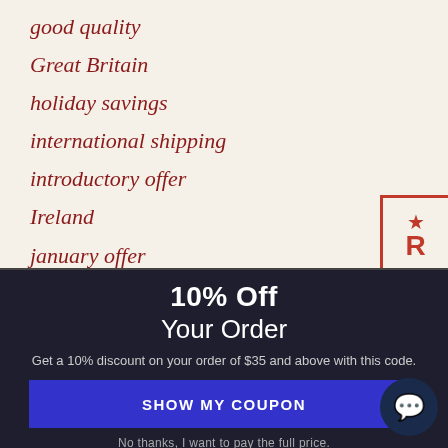good quality
Great Britain
holiday savings
international shipping
introductory offer
Ireland
january offer
10% Off
Your Order
Get a 10% discount on your order of $35 and above with this code.
SHOW MY COUPON
No thanks, I want to pay the full price.